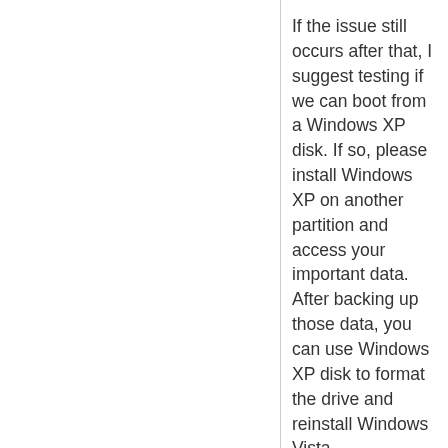If the issue still occurs after that, I suggest testing if we can boot from a Windows XP disk. If so, please install Windows XP on another partition and access your important data. After backing up those data, you can use Windows XP disk to format the drive and reinstall Windows Vista.
However, if we cannot boot from a Windows XP disk, the issue can be caused by incorrect BIOS settings or damaged hardware. I recommend contacting your computer manufacturer to check BIOS and hardware.
To access the data on the drive, you can try to install the hard drive on another computer.